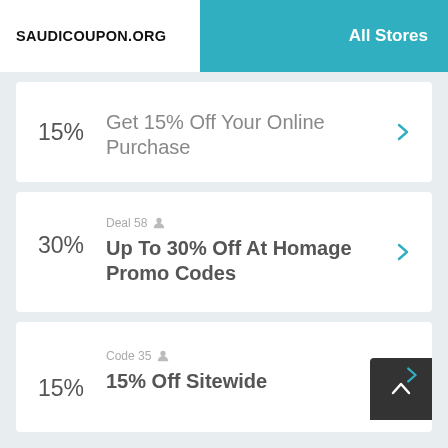SAUDICOUPON.ORG  All Stores
15%  Get 15% Off Your Online Purchase
Deal 58  30%  Up To 30% Off At Homage Promo Codes
Code 35  15%  15% Off Sitewide